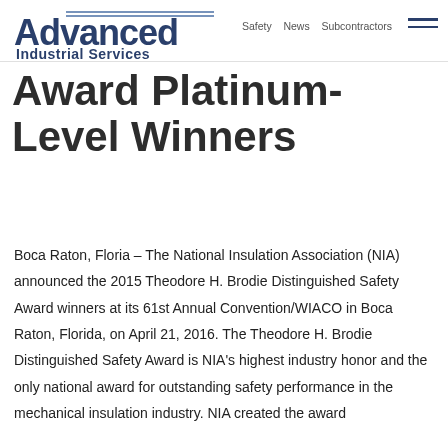Safety  News  Subcontractors
[Figure (logo): Advanced Industrial Services logo with blue double-line accent and bold text]
Award Platinum-Level Winners
Boca Raton, Floria – The National Insulation Association (NIA) announced the 2015 Theodore H. Brodie Distinguished Safety Award winners at its 61st Annual Convention/WIACO in Boca Raton, Florida, on April 21, 2016. The Theodore H. Brodie Distinguished Safety Award is NIA's highest industry honor and the only national award for outstanding safety performance in the mechanical insulation industry. NIA created the award